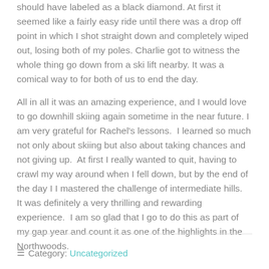should have labeled as a black diamond. At first it seemed like a fairly easy ride until there was a drop off point in which I shot straight down and completely wiped out, losing both of my poles. Charlie got to witness the whole thing go down from a ski lift nearby. It was a comical way to for both of us to end the day.
All in all it was an amazing experience, and I would love to go downhill skiing again sometime in the near future. I am very grateful for Rachel's lessons.  I learned so much not only about skiing but also about taking chances and not giving up.  At first I really wanted to quit, having to crawl my way around when I fell down, but by the end of the day I I mastered the challenge of intermediate hills.  It was definitely a very thrilling and rewarding experience.  I am so glad that I go to do this as part of my gap year and count it as one of the highlights in the Northwoods.
☰ Category: Uncategorized